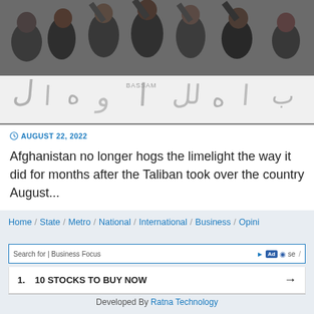[Figure (photo): Group of bearded men holding a white banner with Arabic script, some raising their arms, appear to be chanting or celebrating.]
© AUGUST 22, 2022
Afghanistan no longer hogs the limelight the way it did for months after the Taliban took over the country August...
Home / State / Metro / National / International / Business / Opini…se / 1. 10 STOCKS TO BUY NOW → / Developed By Ratna Technology